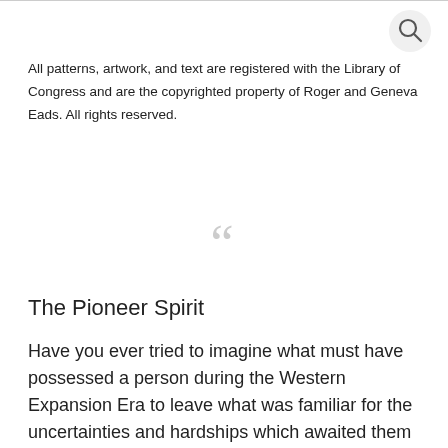All patterns, artwork, and text are registered with the Library of Congress and are the copyrighted property of Roger and Geneva Eads.  All rights reserved.
[Figure (illustration): Large decorative open quotation mark in light gray]
The Pioneer Spirit
Have you ever tried to imagine what must have possessed a person during the Western Expansion Era to leave what was familiar for the uncertainties and hardships which awaited them on the trail west?